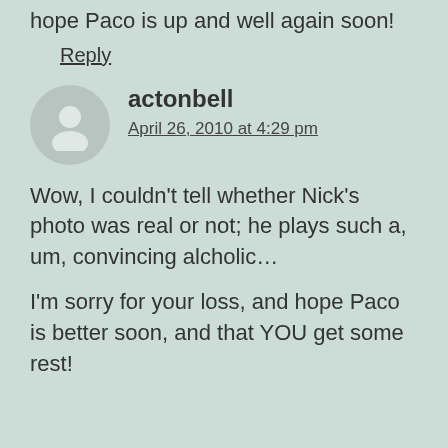hope Paco is up and well again soon!
Reply
actonbell
April 26, 2010 at 4:29 pm
Wow, I couldn't tell whether Nick's photo was real or not; he plays such a, um, convincing alcholic…
I'm sorry for your loss, and hope Paco is better soon, and that YOU get some rest!